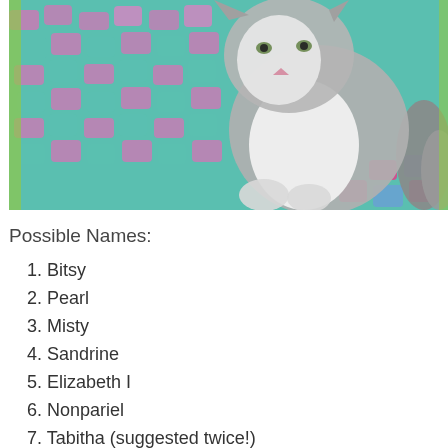[Figure (photo): A gray and white cat sitting on a colorful crocheted blanket with teal and pink/purple yarn patterns. The cat faces the camera with white chest and paws visible.]
Possible Names:
1. Bitsy
2. Pearl
3. Misty
4. Sandrine
5. Elizabeth I
6. Nonpariel
7. Tabitha (suggested twice!)